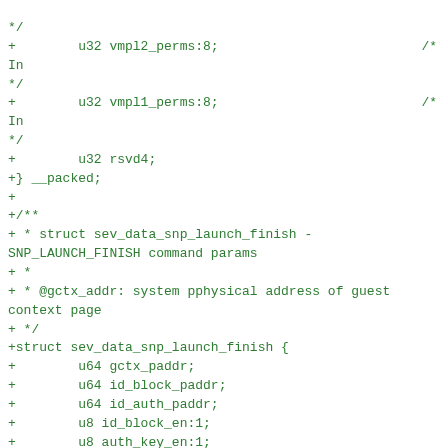*/
+        u32 vmpl2_perms:8;                                /* In
*/
+        u32 vmpl1_perms:8;                                /* In
*/
+        u32 rsvd4;
+} __packed;
+
+/**
+ * struct sev_data_snp_launch_finish - SNP_LAUNCH_FINISH command params
+ *
+ * @gctx_addr: system pphysical address of guest context page
+ */
+struct sev_data_snp_launch_finish {
+        u64 gctx_paddr;
+        u64 id_block_paddr;
+        u64 id_auth_paddr;
+        u8 id_block_en:1;
+        u8 auth_key_en:1;
+        u64 rsvd:62;
+        u8 host_data[32];
+} __packed;
+
+/**
+ * struct sev_data_snp_guest_status - SNP_GUEST_STATUS command params
+ *
+ * @gctx_paddr: system physical address of guest context page